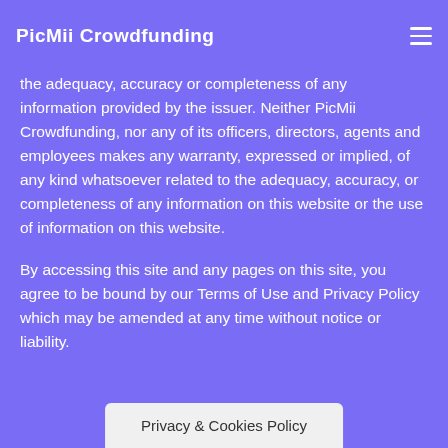PicMii Crowdfunding
the adequacy, accuracy or completeness of any information provided by the issuer. Neither PicMii Crowdfunding, nor any of its officers, directors, agents and employees makes any warranty, expressed or implied, of any kind whatsoever related to the adequacy, accuracy, or completeness of any information on this website or the use of information on this website.
By accessing this site and any pages on this site, you agree to be bound by our Terms of Use and Privacy Policy which may be amended at any time without notice or liability.
Privacy & Cookies Policy